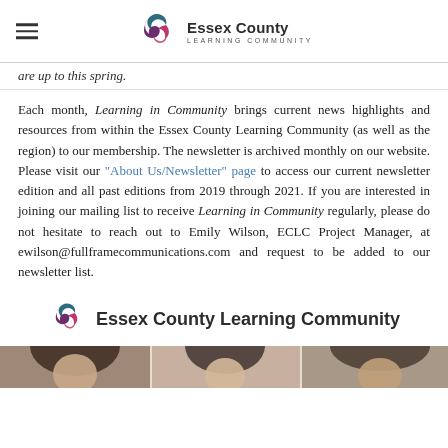Essex County Learning Community
are up to this spring.
Each month, Learning in Community brings current news highlights and resources from within the Essex County Learning Community (as well as the region) to our membership. The newsletter is archived monthly on our website. Please visit our "About Us/Newsletter" page to access our current newsletter edition and all past editions from 2019 through 2021. If you are interested in joining our mailing list to receive Learning in Community regularly, please do not hesitate to reach out to Emily Wilson, ECLC Project Manager, at ewilson@fullframecommunications.com and request to be added to our newsletter list.
[Figure (logo): Essex County Learning Community logo with swirl icon]
[Figure (photo): Photo strip of people at bottom of page]